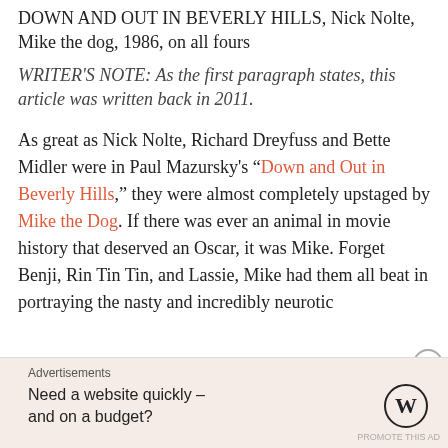DOWN AND OUT IN BEVERLY HILLS, Nick Nolte, Mike the dog, 1986, on all fours
WRITER'S NOTE: As the first paragraph states, this article was written back in 2011.
As great as Nick Nolte, Richard Dreyfuss and Bette Midler were in Paul Mazursky's “Down and Out in Beverly Hills,” they were almost completely upstaged by Mike the Dog. If there was ever an animal in movie history that deserved an Oscar, it was Mike. Forget Benji, Rin Tin Tin, and Lassie, Mike had them all beat in portraying the nasty and incredibly neurotic
Advertisements
Need a website quickly – and on a budget?